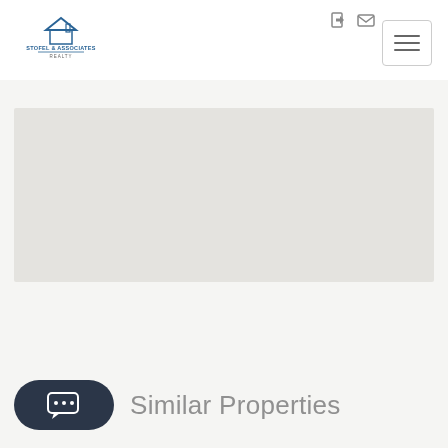[Figure (logo): Stofel & Associates Realty logo with house icon]
[Figure (other): Navigation icons: login and email icons in top right]
[Figure (other): Hamburger menu button with three horizontal lines]
[Figure (map): Light gray map placeholder area]
[Figure (other): Dark rounded chat button with speech bubble and dots icon]
Similar Properties